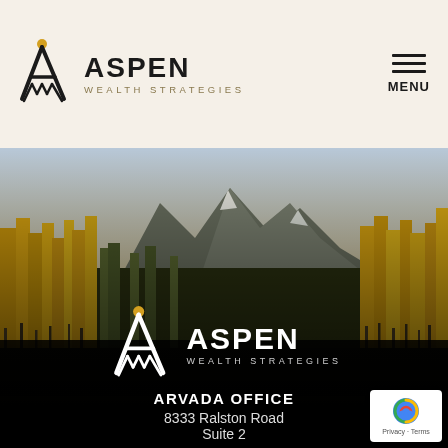[Figure (logo): Aspen Wealth Strategies logo with stylized A mark and gold/black coloring, top left of header]
[Figure (other): Hamburger menu icon with three horizontal lines and MENU label, top right of header]
[Figure (photo): Scenic mountain landscape with golden aspen trees in autumn foliage and Rocky Mountain peaks in background]
[Figure (logo): Aspen Wealth Strategies white logo centered in lower dark section]
ARVADA OFFICE
8333 Ralston Road
Suite 2